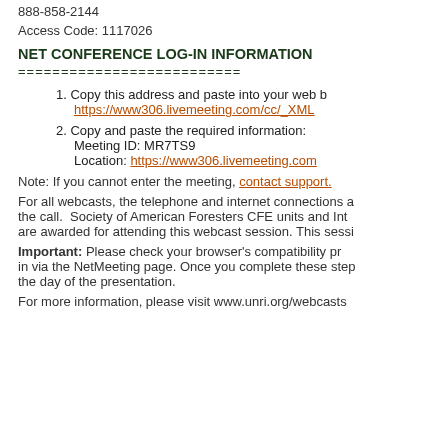888-858-2144
Access Code: 1117026
NET CONFERENCE LOG-IN INFORMATION
==========================
1. Copy this address and paste into your web browser: https://www306.livemeeting.com/cc/_XML...
2. Copy and paste the required information:
Meeting ID: MR7TS9
Location: https://www306.livemeeting.com...
Note: If you cannot enter the meeting, contact support.
For all webcasts, the telephone and internet connections are required during the call. Society of American Foresters CFE units and Int... are awarded for attending this webcast session. This sessi...
Important: Please check your browser's compatibility pr... in via the NetMeeting page. Once you complete these step... the day of the presentation.
For more information, please visit www.unri.org/webcasts...